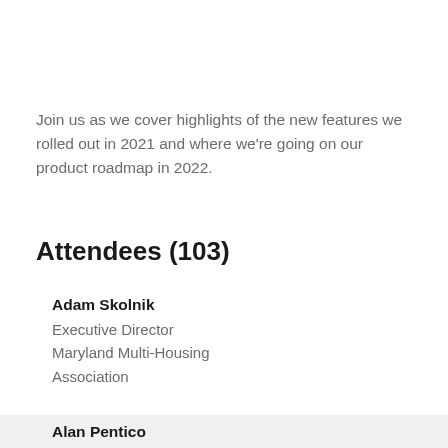Join us as we cover highlights of the new features we rolled out in 2021 and where we're going on our product roadmap in 2022.
Attendees (103)
Adam Skolnik
Executive Director
Maryland Multi-Housing Association
Alan Pentico
Executive Director
Southern California Rental Housing Association